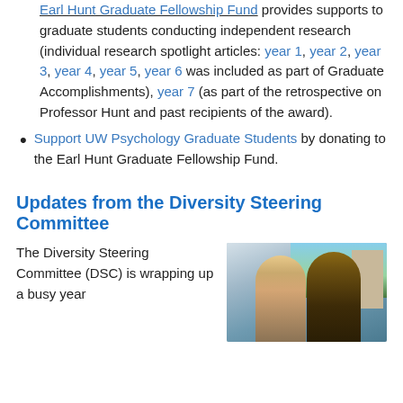Earl Hunt Graduate Fellowship Fund provides supports to graduate students conducting independent research (individual research spotlight articles: year 1, year 2, year 3, year 4, year 5, year 6 was included as part of Graduate Accomplishments), year 7 (as part of the retrospective on Professor Hunt and past recipients of the award).
Support UW Psychology Graduate Students by donating to the Earl Hunt Graduate Fellowship Fund.
Updates from the Diversity Steering Committee
The Diversity Steering Committee (DSC) is wrapping up a busy year
[Figure (photo): Two women posing together outdoors, with trees and a building visible in the background.]